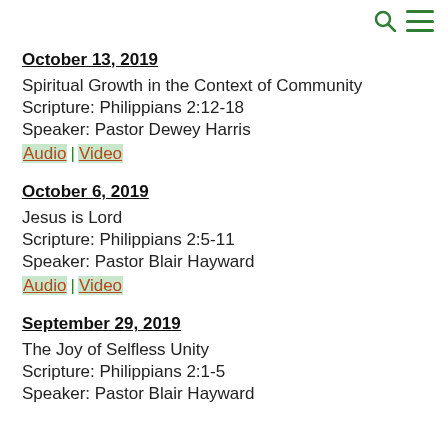October 13, 2019
Spiritual Growth in the Context of Community
Scripture:  Philippians 2:12-18
Speaker:  Pastor Dewey Harris
Audio | Video
October 6, 2019
Jesus is Lord
Scripture:  Philippians 2:5-11
Speaker:  Pastor Blair Hayward
Audio | Video
September 29, 2019
The Joy of Selfless Unity
Scripture:  Philippians 2:1-5
Speaker:  Pastor Blair Hayward